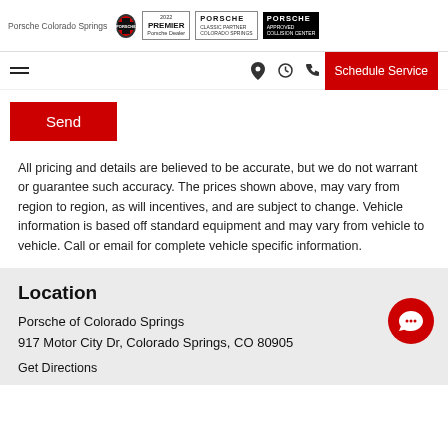Porsche Colorado Springs | 2022 PREMIER Porsche Dealer | PORSCHE CLASSIC PARTNER COLORADO SPRINGS | PORSCHE APPROVED COLLISION CENTER
Send
All pricing and details are believed to be accurate, but we do not warrant or guarantee such accuracy. The prices shown above, may vary from region to region, as will incentives, and are subject to change. Vehicle information is based off standard equipment and may vary from vehicle to vehicle. Call or email for complete vehicle specific information.
Location
Porsche of Colorado Springs
917 Motor City Dr, Colorado Springs, CO 80905
Get Directions